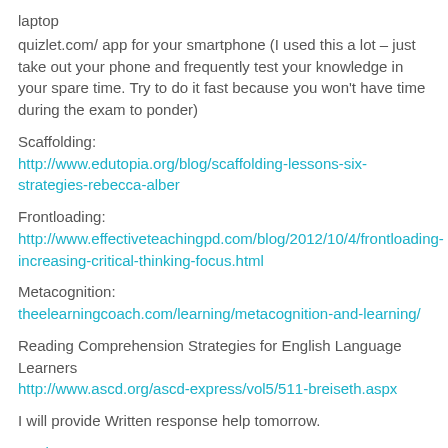laptop
quizlet.com/ app for your smartphone (I used this a lot – just take out your phone and frequently test your knowledge in your spare time. Try to do it fast because you won't have time during the exam to ponder)
Scaffolding:
http://www.edutopia.org/blog/scaffolding-lessons-six-strategies-rebecca-alber
Frontloading:
http://www.effectiveteachingpd.com/blog/2012/10/4/frontloading-increasing-critical-thinking-focus.html
Metacognition:
theelearningcoach.com/learning/metacognition-and-learning/
Reading Comprehension Strategies for English Language Learners
http://www.ascd.org/ascd-express/vol5/511-breiseth.aspx
I will provide Written response help tomorrow.
Reply